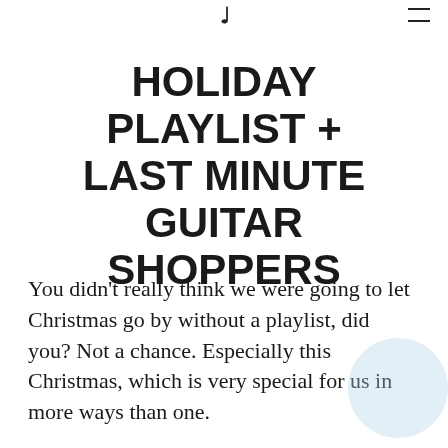♩ ☰
HOLIDAY PLAYLIST + LAST MINUTE GUITAR SHOPPERS
You didn't really think we were going to let Christmas go by without a playlist, did you? Not a chance. Especially this Christmas, which is very special for us in more ways than one.
We're having a hoot of a time learning